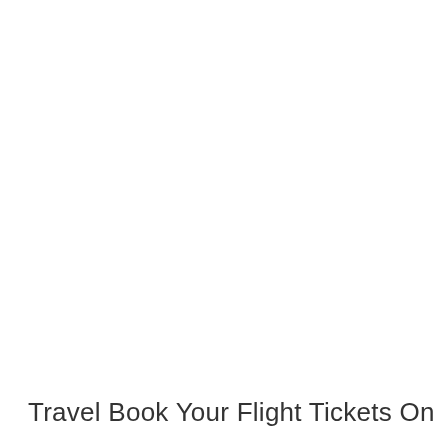Travel Book Your Flight Tickets On